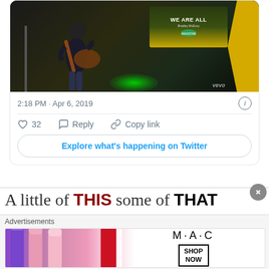[Figure (screenshot): Twitter/X embedded tweet screenshot showing a musician playing guitar in a Vevo-branded studio with 'WE ARE ALL' text on a screen in background. Timestamp: 2:18 PM · Apr 6, 2019. 32 likes. Action buttons: Reply, Copy link. 'Explore what's happening on Twitter' button. Below: advertisement banner partially visible showing 'A little of THIS some of THAT' headline. MAC cosmetics advertisement at bottom with lipsticks and SHOP NOW button. Advertisements label with close (X) button.]